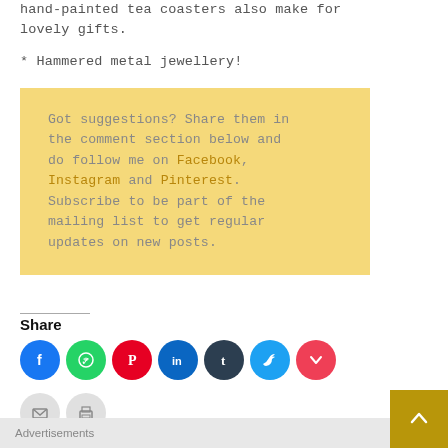hand-painted tea coasters also make for lovely gifts.
* Hammered metal jewellery!
Got suggestions? Share them in the comment section below and do follow me on Facebook, Instagram and Pinterest. Subscribe to be part of the mailing list to get regular updates on new posts.
Share
[Figure (infographic): Row of social share icon circles: Facebook (blue), WhatsApp (green), Pinterest (red), LinkedIn (blue), Tumblr (dark), Twitter (light blue), Pocket (pink/red), then second row: Email (grey), Print (grey)]
Advertisements